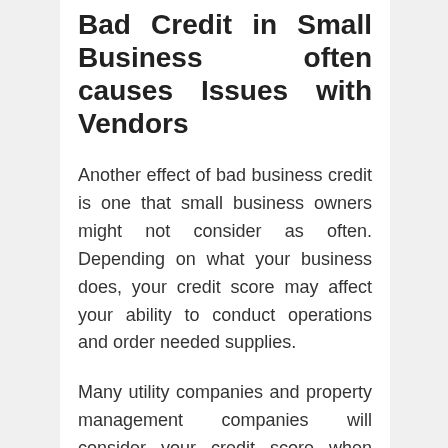Bad Credit in Small Business often causes Issues with Vendors
Another effect of bad business credit is one that small business owners might not consider as often. Depending on what your business does, your credit score may affect your ability to conduct operations and order needed supplies.
Many utility companies and property management companies will consider your credit score when determining your eligibility to rent office